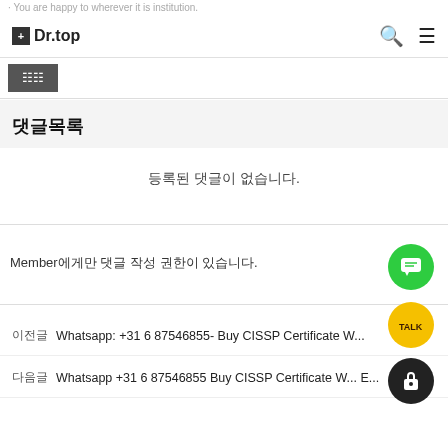Dr.top
댓글목록
등록된 댓글이 없습니다.
Member에게만 댓글 작성 권한이 있습니다.
이전글  Whatsapp: +31 6 87546855- Buy CISSP Certificate W...
다음글  Whatsapp +31 6 87546855 Buy CISSP Certificate W... E...